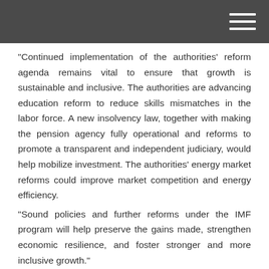"Continued implementation of the authorities' reform agenda remains vital to ensure that growth is sustainable and inclusive. The authorities are advancing education reform to reduce skills mismatches in the labor force. A new insolvency law, together with making the pension agency fully operational and reforms to promote a transparent and independent judiciary, would help mobilize investment. The authorities' energy market reforms could improve market competition and energy efficiency.
"Sound policies and further reforms under the IMF program will help preserve the gains made, strengthen economic resilience, and foster stronger and more inclusive growth."